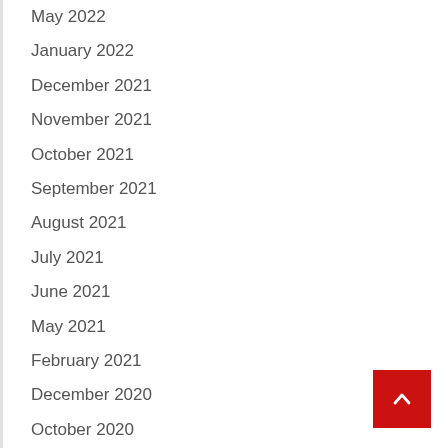May 2022
January 2022
December 2021
November 2021
October 2021
September 2021
August 2021
July 2021
June 2021
May 2021
February 2021
December 2020
October 2020
March 2020